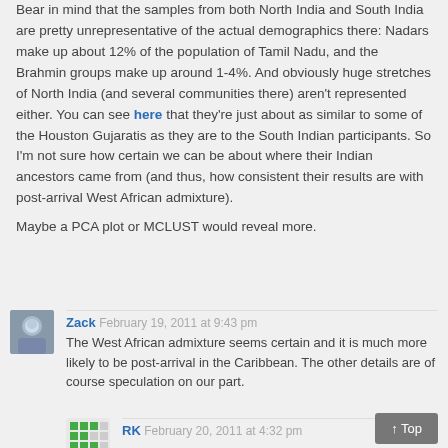Bear in mind that the samples from both North India and South India are pretty unrepresentative of the actual demographics there: Nadars make up about 12% of the population of Tamil Nadu, and the Brahmin groups make up around 1-4%. And obviously huge stretches of North India (and several communities there) aren't represented either. You can see here that they're just about as similar to some of the Houston Gujaratis as they are to the South Indian participants. So I'm not sure how certain we can be about where their Indian ancestors came from (and thus, how consistent their results are with post-arrival West African admixture).
Maybe a PCA plot or MCLUST would reveal more.
Zack February 19, 2011 at 9:43 pm
The West African admixture seems certain and it is much more likely to be post-arrival in the Caribbean. The other details are of course speculation on our part.
RK February 20, 2011 at 4:32 pm